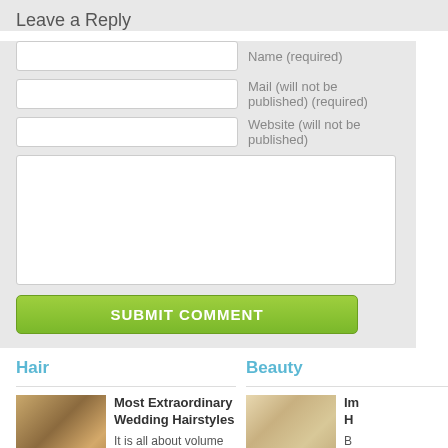Leave a Reply
Name (required)
Mail (will not be published) (required)
Website (will not be published)
SUBMIT COMMENT
Hair
Beauty
Most Extraordinary Wedding Hairstyles
It is all about volume Hair is what every lady is most concerned with. Regardless...
Im H
B be ca